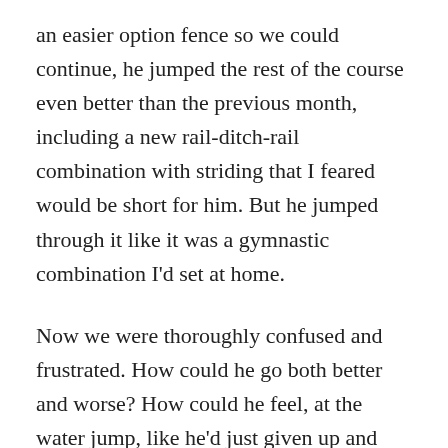an easier option fence so we could continue, he jumped the rest of the course even better than the previous month, including a new rail-ditch-rail combination with striding that I feared would be short for him. But he jumped through it like it was a gymnastic combination I'd set at home.
Now we were thoroughly confused and frustrated. How could he go both better and worse? How could he feel, at the water jump, like he'd just given up and then continue as if nothing had happened, feeling uncertain only on the second water jump? (He'd been jumping through water just fine throughout his career, though.)